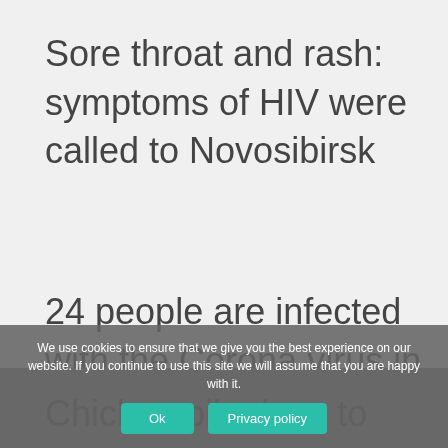Sore throat and rash: symptoms of HIV were called to Novosibirsk
24 people are infected with the Corona virus in the Tver region daily
Chicken pil... how to
We use cookies to ensure that we give you the best experience on our website. If you continue to use this site we will assume that you are happy with it.
Ok
Privacy policy